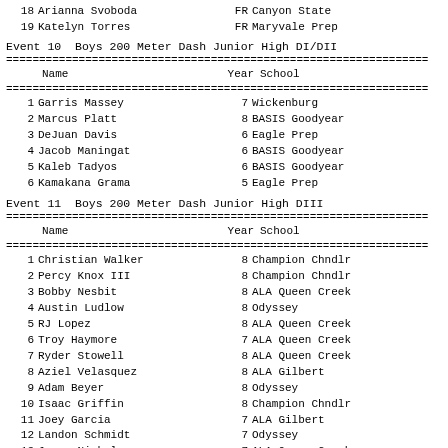| # | Name | Year | School |
| --- | --- | --- | --- |
| 18 | Arianna Svoboda | FR | Canyon State |
| 19 | Katelyn Torres | FR | Maryvale Prep |
Event 10  Boys 200 Meter Dash Junior High DI/DII
| Name | Year | School |
| --- | --- | --- |
| 1 | Garris Massey | 7 | Wickenburg |
| 2 | Marcus Platt | 8 | BASIS Goodyear |
| 3 | DeJuan Davis | 6 | Eagle Prep |
| 4 | Jacob Maningat | 6 | BASIS Goodyear |
| 5 | Kaleb Tadyos | 6 | BASIS Goodyear |
| 6 | Kamakana Grama | 5 | Eagle Prep |
Event 11  Boys 200 Meter Dash Junior High DIII
| Name | Year | School |
| --- | --- | --- |
| 1 | Christian Walker | 8 | Champion Chndlr |
| 2 | Percy Knox III | 8 | Champion Chndlr |
| 3 | Bobby Nesbit | 8 | ALA Queen Creek |
| 4 | Austin Ludlow | 8 | Odyssey |
| 5 | RJ Lopez | 8 | ALA Queen Creek |
| 6 | Troy Haymore | 7 | ALA Queen Creek |
| 7 | Ryder Stowell | 8 | ALA Queen Creek |
| 8 | Aziel Velasquez | 8 | ALA Gilbert |
| 9 | Adam Beyer | 8 | Odyssey |
| 10 | Isaac Griffin | 8 | Champion Chndlr |
| 11 | Joey Garcia | 7 | ALA Gilbert |
| 12 | Landon Schmidt | 7 | Odyssey |
| 13 | James Nichols | 7 | ALA Queen Creek |
| 14 | Devin Mock | 6 | ASU Prep Poly |
| 15 | Ricky Rockingham | 7 | ALA Queen Creek |